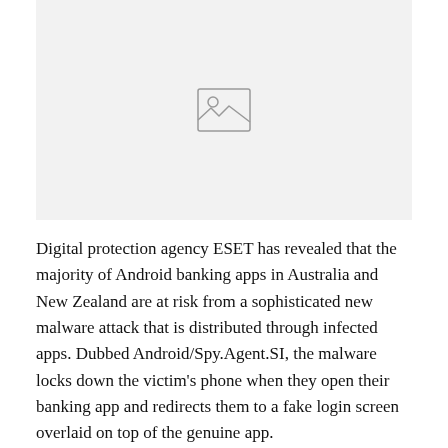[Figure (photo): Image placeholder with a generic image icon (mountains and sun outline) on a light grey background]
Digital protection agency ESET has revealed that the majority of Android banking apps in Australia and New Zealand are at risk from a sophisticated new malware attack that is distributed through infected apps. Dubbed Android/Spy.Agent.SI, the malware locks down the victim's phone when they open their banking app and redirects them to a fake login screen overlaid on top of the genuine app.
The fake app cannot be removed from the screen until login